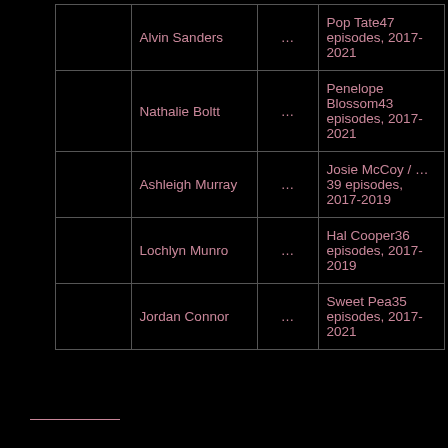|  | Actor |  | Role/Episodes |
| --- | --- | --- | --- |
|  | Alvin Sanders | ... | Pop Tate47 episodes, 2017-2021 |
|  | Nathalie Boltt | ... | Penelope Blossom43 episodes, 2017-2021 |
|  | Ashleigh Murray | ... | Josie McCoy / ...39 episodes, 2017-2019 |
|  | Lochlyn Munro | ... | Hal Cooper36 episodes, 2017-2019 |
|  | Jordan Connor | ... | Sweet Pea35 episodes, 2017-2021 |